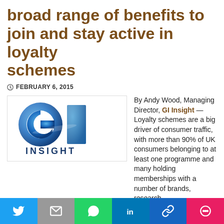broad range of benefits to join and stay active in loyalty schemes
FEBRUARY 6, 2015
[Figure (logo): GI Insight logo — large blue G and blue I letters with 'INSIGHT' text below in dark navy]
By Andy Wood, Managing Director, GI Insight — Loyalty schemes are a big driver of consumer traffic, with more than 90% of UK consumers belonging to at least one programme and many holding memberships with a number of brands, research
Social share buttons: Twitter, Email, WhatsApp, LinkedIn, Link, More